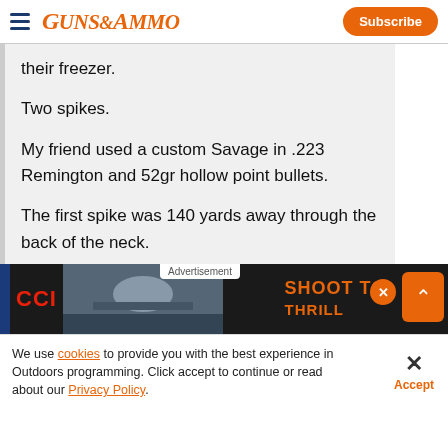GUNS&AMMO | Subscribe
their freezer.
Two spikes.
My friend used a custom Savage in .223 Remington and 52gr hollow point bullets.
The first spike was 140 yards away through the back of the neck.
[Figure (screenshot): CCI advertisement banner with 'SHOOT TO THRILL' text and a photo of a shooter]
We use cookies to provide you with the best experience in Outdoors programming. Click accept to continue or read about our Privacy Policy.